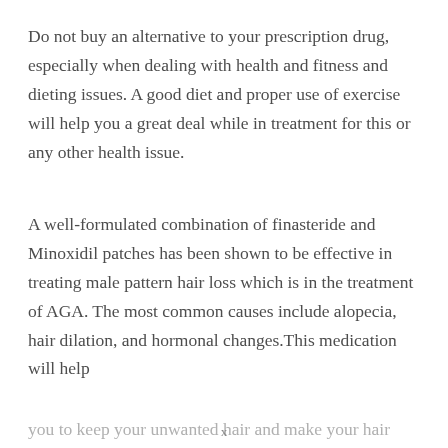Do not buy an alternative to your prescription drug, especially when dealing with health and fitness and dieting issues. A good diet and proper use of exercise will help you a great deal while in treatment for this or any other health issue.
A well-formulated combination of finasteride and Minoxidil patches has been shown to be effective in treating male pattern hair loss which is in the treatment of AGA. The most common causes include alopecia, hair dilation, and hormonal changes.This medication will help
you to keep your unwanted hair and make your hair...
x